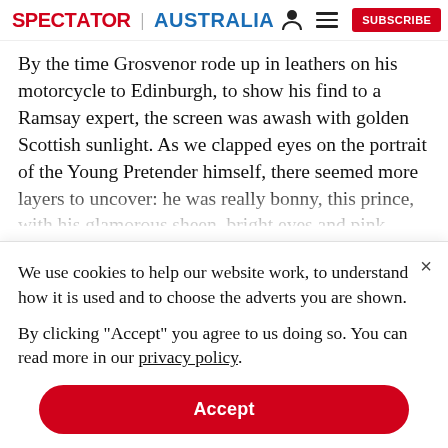SPECTATOR | AUSTRALIA
By the time Grosvenor rode up in leathers on his motorcycle to Edinburgh, to show his find to a Ramsay expert, the screen was awash with golden Scottish sunlight. As we clapped eyes on the portrait of the Young Pretender himself, there seemed more layers to uncover: he was really bonny, this prince, with his glamorous sheen, bright eyes and pink cheeks
We use cookies to help our website work, to understand how it is used and to choose the adverts you are shown.
By clicking "Accept" you agree to us doing so. You can read more in our privacy policy.